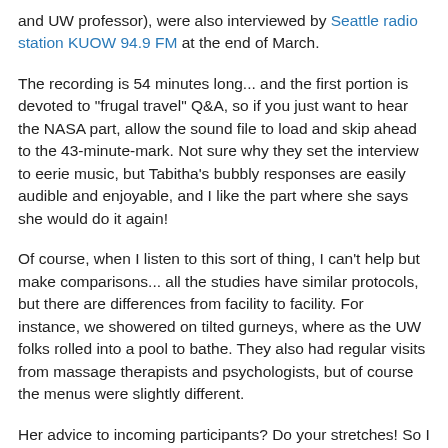and UW professor), were also interviewed by Seattle radio station KUOW 94.9 FM at the end of March.
The recording is 54 minutes long... and the first portion is devoted to "frugal travel" Q&A, so if you just want to hear the NASA part, allow the sound file to load and skip ahead to the 43-minute-mark. Not sure why they set the interview to eerie music, but Tabitha's bubbly responses are easily audible and enjoyable, and I like the part where she says she would do it again!
Of course, when I listen to this sort of thing, I can't help but make comparisons... all the studies have similar protocols, but there are differences from facility to facility. For instance, we showered on tilted gurneys, where as the UW folks rolled into a pool to bathe. They also had regular visits from massage therapists and psychologists, but of course the menus were slightly different.
Her advice to incoming participants? Do your stretches! So I gather she had the same daily stretching routines that I had. Always looked forward to those as a rare opportunity to